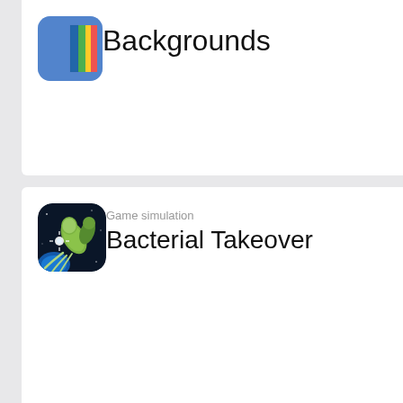[Figure (screenshot): App listing card for 'Backgrounds' with colorful vertical bars icon and large title text]
Backgrounds
[Figure (screenshot): App listing card for 'Bacterial Takeover' game simulation with dark bacteria icon]
Game simulation
Bacterial Takeover
Social